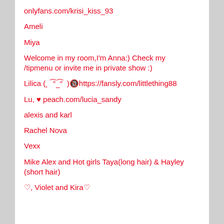onlyfans.com/krisi_kiss_93
Ameli
Miya
Welcome in my room,I'm Anna:) Check my /tipmenu or invite me in private show :)
Lilica (˛ ͡°_͡° )🔞https://fansly.com/littlething88
Lu, ♥ peach.com/lucia_sandy
alexis and karl
Rachel Nova
Vexx
Mike Alex and Hot girls Taya(long hair) & Hayley (short hair)
♡, Violet and Kira♡